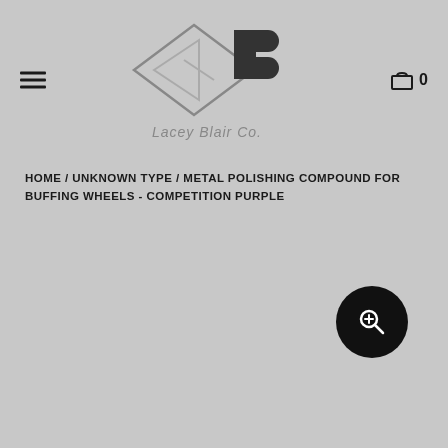Lacey Blair Co. — navigation header with logo, hamburger menu, and cart icon showing 0
HOME / UNKNOWN TYPE / METAL POLISHING COMPOUND FOR BUFFING WHEELS - COMPETITION PURPLE
[Figure (other): Search/magnify button icon — dark circular button with magnifying glass icon]